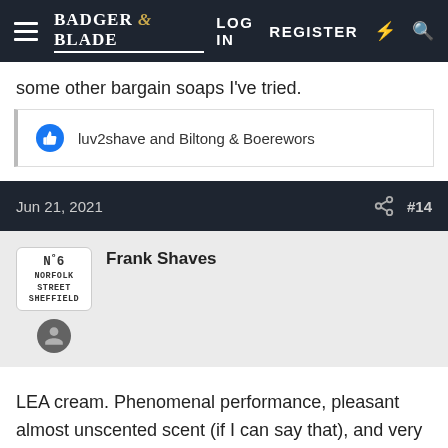Badger & Blade | LOG IN  REGISTER
some other bargain soaps I've tried.
luv2shave and Biltong & Boerewors
Jun 21, 2021  #14
Frank Shaves
LEA cream. Phenomenal performance, pleasant almost unscented scent (if I can say that), and very affordable.